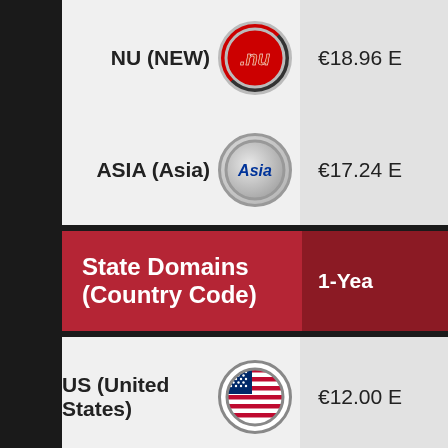| Domain | 1-Year Price |
| --- | --- |
| NU (NEW) | €18.96 E |
| ASIA (Asia) | €17.24 E |
| State Domains (Country Code) | 1-Year |
| US (United States) | €12.00 E |
| CA (Canada) | €18.39 E |
| COM.AU (Austraila) | €13.79 E |